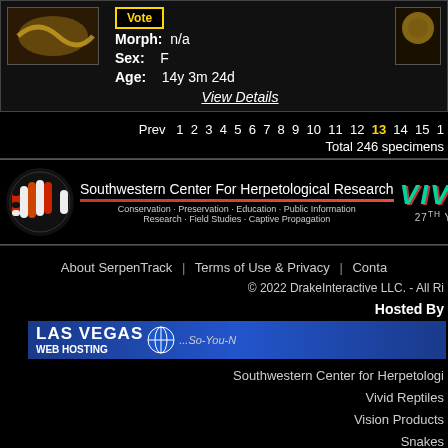Morph: n/a
Sex: F
Age: 14y 3m 24d
Vote
View Details
Prev  1 2 3 4 5 6 7 8 9 10 11 12 13 14 15 1...
Total 246 specimens
[Figure (logo): Southwestern Center For Herpetological Research banner with snake logo, red underline, subtitle: Conservation - Preservation - Education - Public Information / Research - Field Studies - Captive Propagation]
[Figure (logo): VIVID Reptiles logo in teal italic text with 27TH YEAR text]
About SerpenTrack | Terms of Use & Privacy | Contact
© 2022 DrakeInteractive LLC. - All Rights Reserved
Hosted By
[Figure (logo): Las Vegas Web Hosting banner - blue gradient with globe icon and tagline ...So-You-N...]
Southwestern Center for Herpetological Research
Vivid Reptiles
Vision Products
Snakes
Serpentes